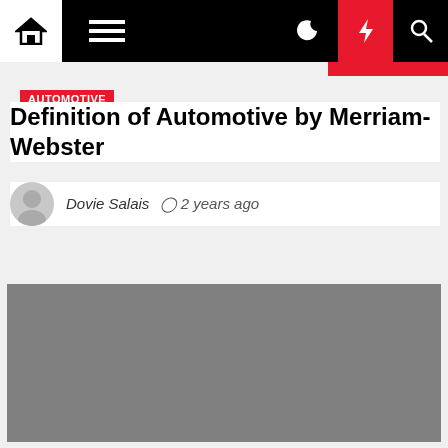Navigation bar with home, menu, moon, lightning, search icons
Automotive
Definition of Automotive by Merriam-Webster
Dovie Salais  2 years ago
[Figure (photo): Gray placeholder image rectangle below article header]